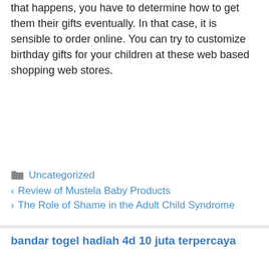that happens, you have to determine how to get them their gifts eventually. In that case, it is sensible to order online. You can try to customize birthday gifts for your children at these web based shopping web stores.
Uncategorized
Review of Mustela Baby Products
The Role of Shame in the Adult Child Syndrome
bandar togel hadiah 4d 10 juta terpercaya
Slot gacor